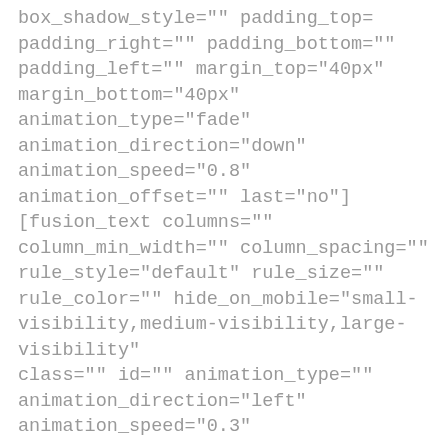box_shadow_style="" padding_top= padding_right="" padding_bottom="" padding_left="" margin_top="40px" margin_bottom="40px" animation_type="fade" animation_direction="down" animation_speed="0.8" animation_offset="" last="no"] [fusion_text columns="" column_min_width="" column_spacing="" rule_style="default" rule_size="" rule_color="" hide_on_mobile="small-visibility,medium-visibility,large-visibility" class="" id="" animation_type="" animation_direction="left" animation_speed="0.3"